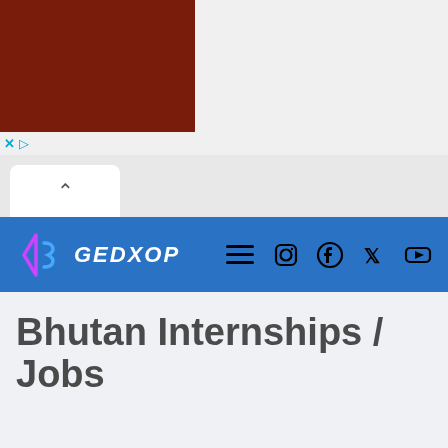[Figure (screenshot): Dark reddish-brown advertisement block with close (x) and play controls below it]
[Figure (screenshot): Browser UI chrome with back/up arrow button tab]
[Figure (screenshot): Blue navigation bar with GEDXOP logo (angular bracket S logo), hamburger menu, and social media icons for Instagram, Facebook, Twitter/X, YouTube]
Bhutan Internships / Jobs